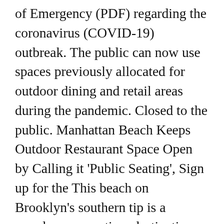of Emergency (PDF) regarding the coronavirus (COVID-19) outbreak. The public can now use spaces previously allocated for outdoor dining and retail areas during the pandemic. Closed to the public. Manhattan Beach Keeps Outdoor Restaurant Space Open by Calling it 'Public Seating', Sign up for the This beach on Brooklyn's southern tip is a popular summertime destination for people from all over New York City. Before Manhattan Beach shut it down, Bruce's Beach was a famous Black-owned beach resort. A 900-foot long pier, located at the end of Manhattan Beach Blvd, bisects the area. "Beginning on Wednesday, May 13, beaches operated by Los